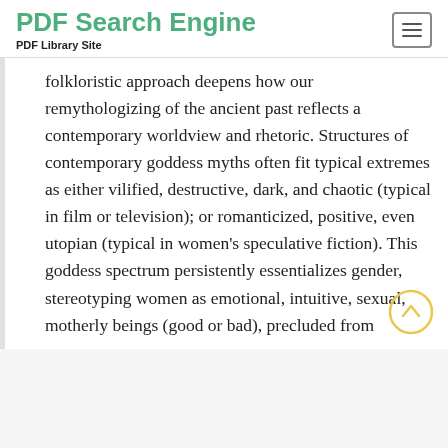PDF Search Engine
PDF Library Site
folkloristic approach deepens how our remythologizing of the ancient past reflects a contemporary worldview and rhetoric. Structures of contemporary goddess myths often fit typical extremes as either vilified, destructive, dark, and chaotic (typical in film or television); or romanticized, positive, even utopian (typical in women's speculative fiction). This goddess spectrum persistently essentializes gender, stereotyping women as emotional, intuitive, sexual, motherly beings (good or bad), precluded from